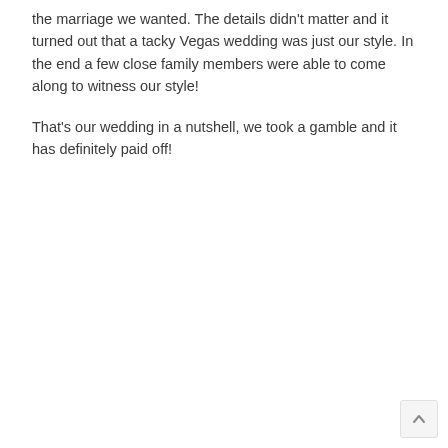the marriage we wanted. The details didn't matter and it turned out that a tacky Vegas wedding was just our style. In the end a few close family members were able to come along to witness our style!
That's our wedding in a nutshell, we took a gamble and it has definitely paid off!